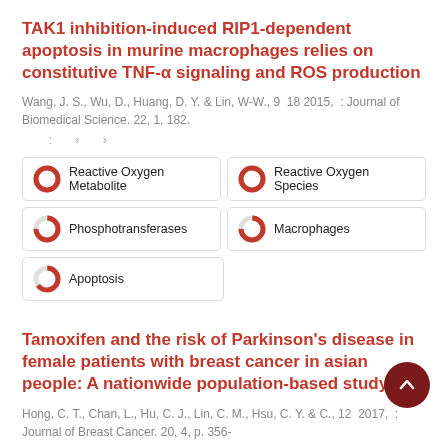TAK1 inhibition-induced RIP1-dependent apoptosis in murine macrophages relies on constitutive TNF-α signaling and ROS production
Wang, J. S., Wu, D., Huang, D. Y. & Lin, W-W., 9  18 2015,  : Journal of Biomedical Science. 22, 1, 182.
: › ›
[Figure (infographic): Five keyword badges with donut/circle icons indicating relevance: Reactive Oxygen Metabolite (100%), Reactive Oxygen Species (100%), Phosphotransferases (75%), Macrophages (75%), Apoptosis (65%)]
Tamoxifen and the risk of Parkinson's disease in female patients with breast cancer in asian people: A nationwide population-based study
Hong, C. T., Chan, L., Hu, C. J., Lin, C. M., Hsu, C. Y. & C., 12  2017,  : Journal of Breast Cancer. 20, 4, p. 356-
: › ›